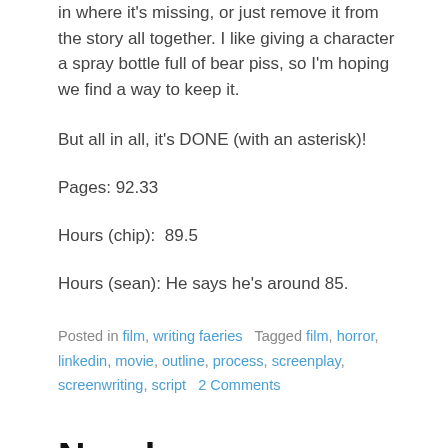in where it's missing, or just remove it from the story all together. I like giving a character a spray bottle full of bear piss, so I'm hoping we find a way to keep it.
But all in all, it's DONE (with an asterisk)!
Pages: 92.33
Hours (chip):  89.5
Hours (sean): He says he's around 85.
Posted in film, writing faeries   Tagged film, horror, linkedin, movie, outline, process, screenplay, screenwriting, script   2 Comments
New horror project: day